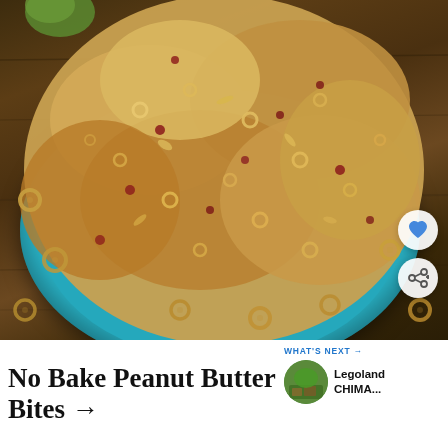[Figure (photo): Overhead close-up photo of no-bake peanut butter bites made with oats, Cheerios, and dried cranberries, served in a teal/turquoise bowl on a wooden surface with scattered Cheerios around.]
No Bake Peanut Butter Bites →
WHAT'S NEXT → Legoland CHIMA...